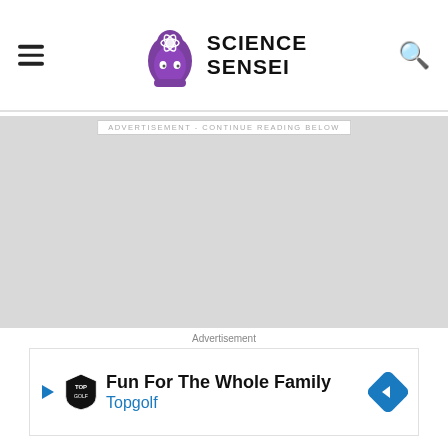Science Sensei
ADVERTISEMENT - CONTINUE READING BELOW
[Figure (other): Large advertisement placeholder area, gray background]
Advertisement
[Figure (other): Topgolf advertisement banner: Fun For The Whole Family - Topgolf]